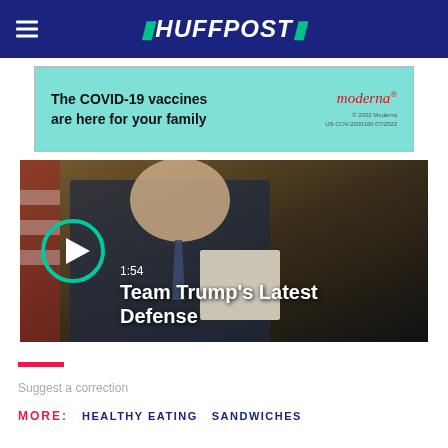HUFFPOST
[Figure (other): Moderna advertisement banner: 'The COVID-19 vaccines are here for your family' with Moderna logo and fine print]
[Figure (other): Video thumbnail showing a person in a suit holding papers, with play button, timestamp '1:54', and title 'Team Trump's Latest Defense']
Suggest a correction
MORE: HEALTHY EATING SANDWICHES